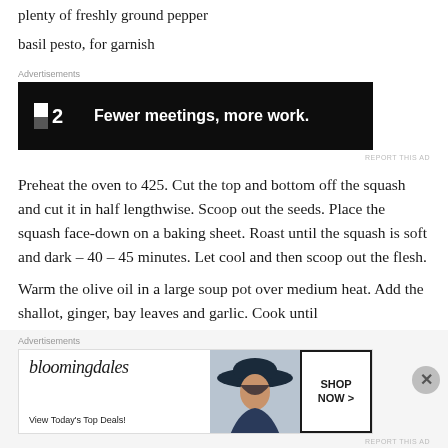plenty of freshly ground pepper
basil pesto, for garnish
[Figure (other): Advertisement banner for Plan.io (P2) — black background with logo and text: Fewer meetings, more work.]
Preheat the oven to 425. Cut the top and bottom off the squash and cut it in half lengthwise. Scoop out the seeds. Place the squash face-down on a baking sheet. Roast until the squash is soft and dark – 40 – 45 minutes. Let cool and then scoop out the flesh.
Warm the olive oil in a large soup pot over medium heat. Add the shallot, ginger, bay leaves and garlic. Cook until
[Figure (other): Advertisement banner for Bloomingdale's — white background with logo, 'View Today's Top Deals!' text, photo of woman in hat, and 'SHOP NOW >' button.]